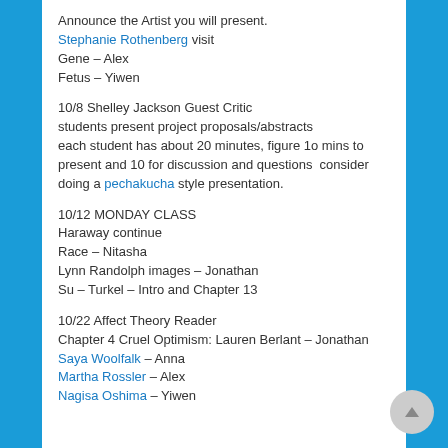Announce the Artist you will present. Stephanie Rothenberg visit
Gene – Alex
Fetus – Yiwen
10/8 Shelley Jackson Guest Critic
students present project proposals/abstracts
each student has about 20 minutes, figure 1o mins to present and 10 for discussion and questions  consider doing a pechakucha style presentation.
10/12 MONDAY CLASS
Haraway continue
Race – Nitasha
Lynn Randolph images – Jonathan
Su – Turkel – Intro and Chapter 13
10/22 Affect Theory Reader
Chapter 4 Cruel Optimism: Lauren Berlant – Jonathan
Saya Woolfalk – Anna
Martha Rossler – Alex
Nagisa Oshima – Yiwen